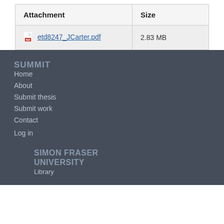| Attachment | Size |
| --- | --- |
| etd8247_JCarter.pdf | 2.83 MB |
SUMMIT
Home
About
Submit thesis
Submit work
Contact
Log in
SIMON FRASER UNIVERSITY
Library